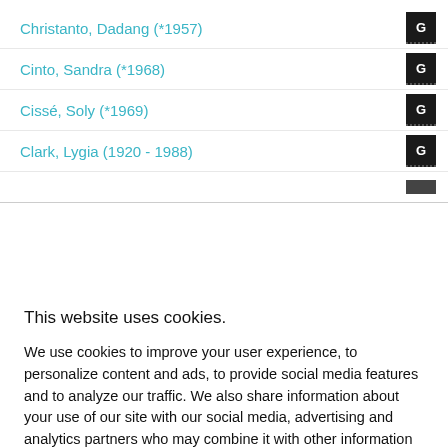Christanto, Dadang (*1957)
Cinto, Sandra (*1968)
Cissé, Soly (*1969)
Clark, Lygia (1920 - 1988)
This website uses cookies.
We use cookies to improve your user experience, to personalize content and ads, to provide social media features and to analyze our traffic. We also share information about your use of our site with our social media, advertising and analytics partners who may combine it with other information that you've provided to them or that they've collected from your use of their services in accordance with our privacy policy.
Please accept or decline our use of cookies and other information practices described in the privacy policy.  By declining, your cookie information will be deleted from our systems and our site may not function as intended.